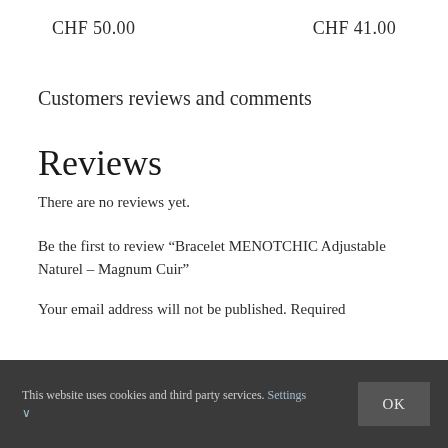CHF 50.00   CHF 41.00
Customers reviews and comments
Reviews
There are no reviews yet.
Be the first to review “Bracelet MENOTCHIC Adjustable Naturel – Magnum Cuir”
Your email address will not be published. Required
This website uses cookies and third party services. Settings ∨